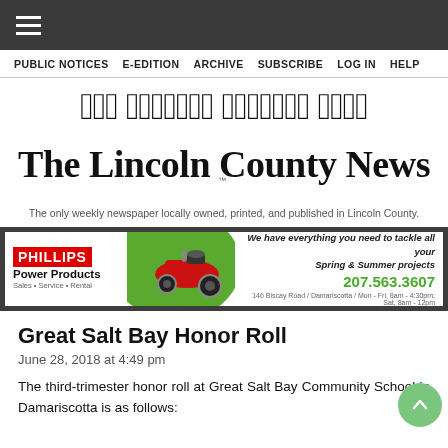PUBLIC NOTICES  E-EDITION  ARCHIVE  SUBSCRIBE  LOG IN  HELP
The Lincoln County News
The only weekly newspaper locally owned, printed, and published in Lincoln County.
[Figure (advertisement): Phillips Power Products advertisement featuring a red zero-turn lawn mower on green grass. Text: 'We have everything you need to tackle all your Spring & Summer projects. 207.563.3607. 146 Biscay Road / Damariscotta / Mon-Fri, 8am-4:30pm; Sat, 8am-12pm']
Great Salt Bay Honor Roll
June 28, 2018 at 4:49 pm
The third-trimester honor roll at Great Salt Bay Community School in Damariscotta is as follows: